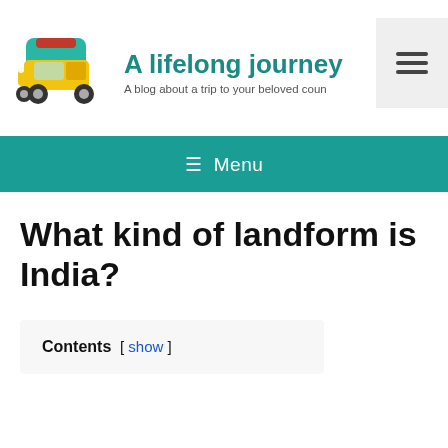[Figure (logo): Auto rickshaw tuk-tuk illustration used as blog logo]
A lifelong journey
A blog about a trip to your beloved coun
[Figure (other): Hamburger menu button icon (three horizontal lines)]
≡ Menu
What kind of landform is India?
Contents [ show ]